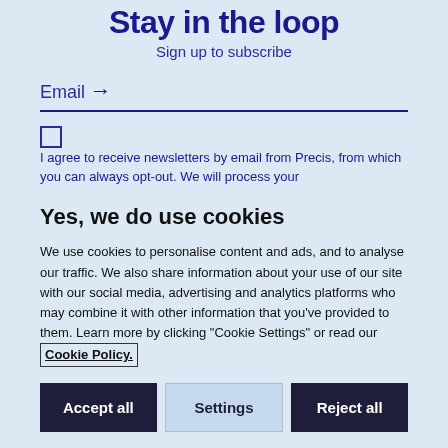Stay in the loop
Sign up to subscribe
Email →
I agree to receive newsletters by email from Precis, from which you can always opt-out. We will process your
Yes, we do use cookies
We use cookies to personalise content and ads, and to analyse our traffic. We also share information about your use of our site with our social media, advertising and analytics platforms who may combine it with other information that you've provided to them. Learn more by clicking "Cookie Settings" or read our Cookie Policy.
Accept all
Settings
Reject all